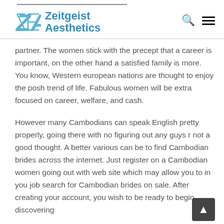Zeitgeist Aesthetics
partner. The women stick with the precept that a career is important, on the other hand a satisfied family is more. You know, Western european nations are thought to enjoy the posh trend of life. Fabulous women will be extra focused on career, welfare, and cash.
However many Cambodians can speak English pretty properly, going there with no figuring out any guys r not a good thought. A better various can be to find Cambodian brides across the internet. Just register on a Cambodian women going out with web site which may allow you to in you job search for Cambodian brides on sale. After creating your account, you wish to be ready to begin discovering Cambodian brides meant for marriage, so that...